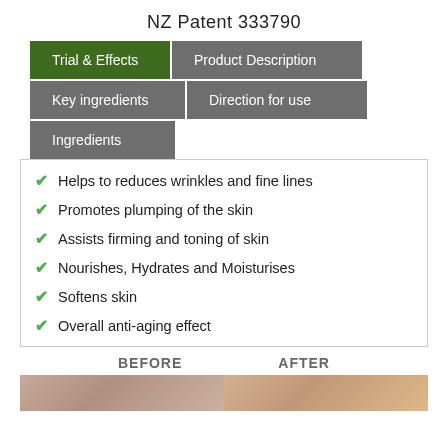NZ Patent 333790
[Figure (screenshot): Navigation tab interface showing: Trial & Effects (active, dark green), Product Description (gray), Key ingredients (gray), Direction for use (gray), Ingredients (gray)]
Helps to reduces wrinkles and fine lines
Promotes plumping of the skin
Assists firming and toning of skin
Nourishes, Hydrates and Moisturises
Softens skin
Overall anti-aging effect
BEFORE    AFTER
[Figure (photo): Before and after photos showing skin comparison]